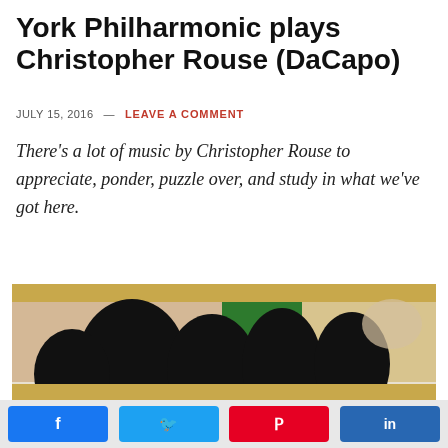York Philharmonic plays Christopher Rouse (DaCapo)
JULY 15, 2016 — LEAVE A COMMENT
There's a lot of music by Christopher Rouse to appreciate, ponder, puzzle over, and study in what we've got here.
[Figure (photo): Album cover for Christopher Rouse - The Marie-Josée Kravis Composer in Residence at the New York Philharmonic, 2012-2015 (DaCapo). Shows abstract dark silhouette figures against a colorful background with New York Philharmonic circular logo.]
[Figure (infographic): Social share buttons row: Facebook (blue), Twitter (light blue), Pinterest (red), LinkedIn (dark blue)]